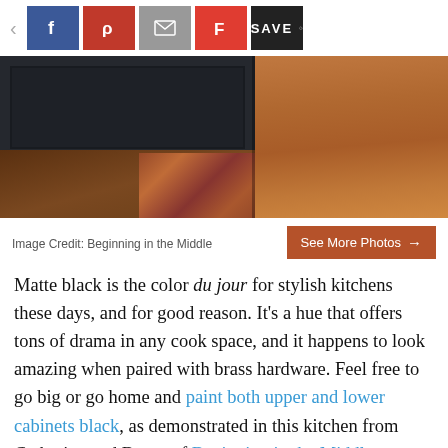[Figure (screenshot): Social share toolbar with back arrow, Facebook, Pinterest, email, Flipboard, and Save buttons]
[Figure (photo): Kitchen photo showing dark matte black upper cabinets, hardwood floor, patterned rug, and copper/wood wall panel on the right]
Image Credit: Beginning in the Middle
Matte black is the color du jour for stylish kitchens these days, and for good reason. It's a hue that offers tons of drama in any cook space, and it happens to look amazing when paired with brass hardware. Feel free to go big or go home and paint both upper and lower cabinets black, as demonstrated in this kitchen from Catherine and Bryan of Beginning in the Middle.